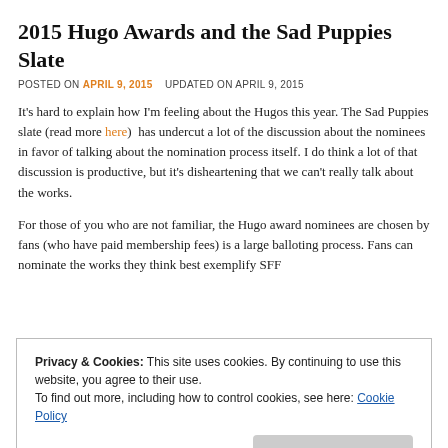2015 Hugo Awards and the Sad Puppies Slate
POSTED ON APRIL 9, 2015   UPDATED ON APRIL 9, 2015
It's hard to explain how I'm feeling about the Hugos this year. The Sad Puppies slate (read more here)  has undercut a lot of the discussion about the nominees in favor of talking about the nomination process itself. I do think a lot of that discussion is productive, but it's disheartening that we can't really talk about the works.
For those of you who are not familiar, the Hugo award nominees are chosen by fans (who have paid membership fees) is a large balloting process. Fans can nominate the works they think best exemplify SFF
Privacy & Cookies: This site uses cookies. By continuing to use this website, you agree to their use.
To find out more, including how to control cookies, see here: Cookie Policy
Close and accept
people (largely associated with MRA groups and gamergaters)